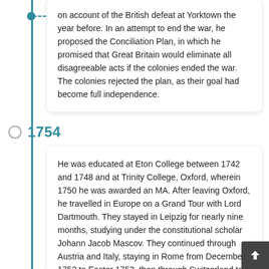on account of the British defeat at Yorktown the year before. In an attempt to end the war, he proposed the Conciliation Plan, in which he promised that Great Britain would eliminate all disagreeable acts if the colonies ended the war. The colonies rejected the plan, as their goal had become full independence.
1754
He was educated at Eton College between 1742 and 1748 and at Trinity College, Oxford, wherein 1750 he was awarded an MA. After leaving Oxford, he travelled in Europe on a Grand Tour with Lord Dartmouth. They stayed in Leipzig for nearly nine months, studying under the constitutional scholar Johann Jacob Mascov. They continued through Austria and Italy, staying in Rome from December 1752 to Easter 1753, then through Switzerland to Paris, returning to England in early 1754. On 15 April 1754, North, then twenty-two,